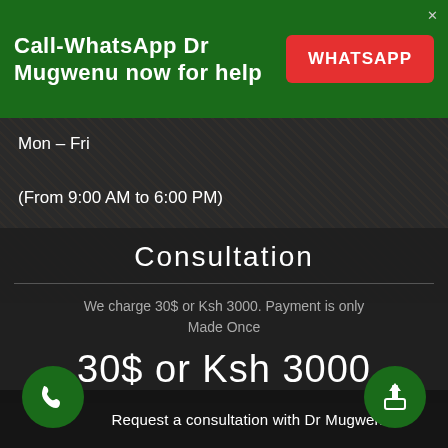Call-WhatsApp Dr Mugwenu now for help
WHATSAPP
Mon – Fri

(From 9:00 AM to 6:00 PM)
Consultation
We charge 30$ or Ksh 3000. Payment is only Made Once
30$ or Ksh 3000
Request a consultation with Dr Mugwenu